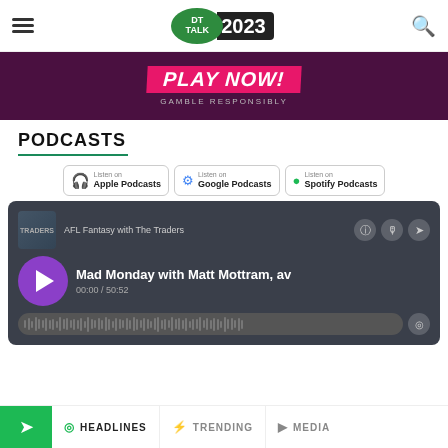DT TALK 2023
[Figure (screenshot): Banner advertisement with dark purple background, pink 'PLAY NOW!' text, and 'GAMBLE RESPONSIBLY' footer text]
PODCASTS
[Figure (screenshot): Podcast platform buttons: Listen on Apple Podcasts, Listen on Google Podcasts, Listen on Spotify Podcasts]
[Figure (screenshot): Podcast player showing 'AFL Fantasy with The Traders' - episode 'Mad Monday with Matt Mottram, av' - time 00:00 / 50:52 with purple play button and waveform progress bar]
HEADLINES  TRENDING  MEDIA